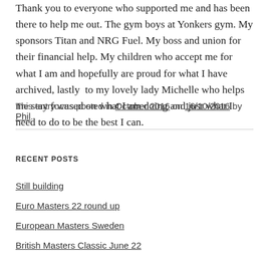Thank you to everyone who supported me and has been there to help me out. The gym boys at Yonkers gym. My sponsors Titan and NRG Fuel. My boss and union for their financial help. My children who accept me for what I am and hopefully are proud for what I have archived, lastly  to my lovely lady Michelle who helps me stay focused on what I am doing and just what I need to do to be the best I can.
This entry was posted in October 2016 on 16/10/2016 by Phil.
RECENT POSTS
Still building
Euro Masters 22 round up
European Masters Sweden
British Masters Classic June 22